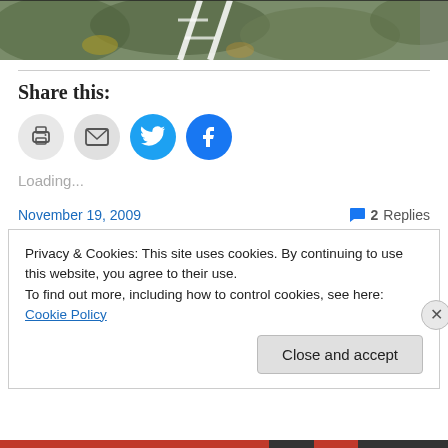[Figure (photo): Partial view of outdoor photo showing foliage and a white structure (ladder or fence), cropped at top of page]
Share this:
[Figure (infographic): Four social sharing icon buttons: print (grey), email (grey), Twitter (blue bird), Facebook (blue f)]
Loading...
November 19, 2009
2 Replies
Privacy & Cookies: This site uses cookies. By continuing to use this website, you agree to their use.
To find out more, including how to control cookies, see here: Cookie Policy
Close and accept